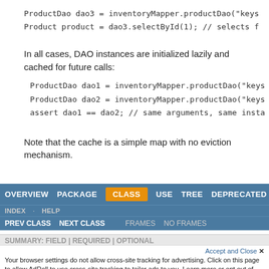ProductDao dao3 = inventoryMapper.productDao("keys
Product product = dao3.selectById(1); // selects f
In all cases, DAO instances are initialized lazily and cached for future calls:
ProductDao dao1 = inventoryMapper.productDao("keys
ProductDao dao2 = inventoryMapper.productDao("keys
assert dao1 == dao2; // same arguments, same insta
Note that the cache is a simple map with no eviction mechanism.
OVERVIEW   PACKAGE   CLASS   USE   TREE   DEPRECATED
INDEX   HELP
PREV CLASS   NEXT CLASS   FRAMES   NO FRAMES
ALL CLASSES
SUMMARY: FIELD | REQUIRED | OPTIONAL
Accept and Close ✕
Your browser settings do not allow cross-site tracking for advertising. Click on this page to allow AdRoll to use cross-site tracking to tailor ads to you. Learn more or opt out of this AdRoll tracking by clicking here. This message only appears once.